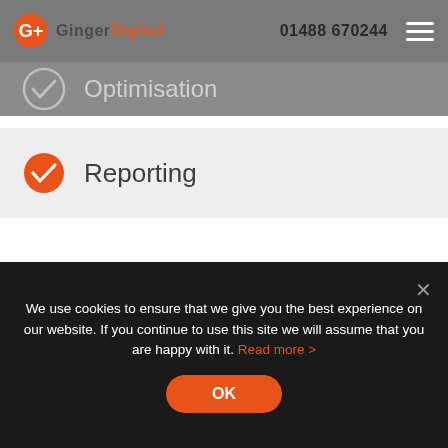Ginger Digital — 01488 670244
Optimisation
Reporting
We use cookies to ensure that we give you the best experience on our website. If you continue to use this site we will assume that you are happy with it. Read more >